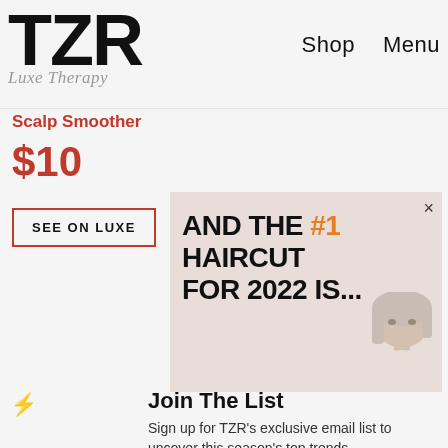TZR  Shop  Menu
Luxe Therapy
Scalp Smoother
$10
SEE ON LUXE
[Figure (screenshot): Advertisement banner overlay showing text: AND THE #1 HAIRCUT FOR 2022 IS... with a woman's photo and a close (×) button]
Join The List
Sign up for TZR's exclusive email list to uncover this season's top trends
Email address  Subscribe